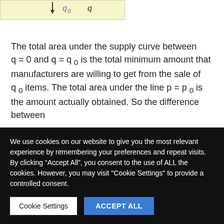[Figure (other): Partial diagram snippet showing downward arrow and axis labels q0 and q on a yellow-green background]
The total area under the supply curve between q = 0 and q = q0 is the total minimum amount that manufacturers are willing to get from the sale of q0 items. The total area under the line p = p0 is the amount actually obtained. So the difference between
We use cookies on our website to give you the most relevant experience by remembering your preferences and repeat visits. By clicking "Accept All", you consent to the use of ALL the cookies. However, you may visit "Cookie Settings" to provide a controlled consent.